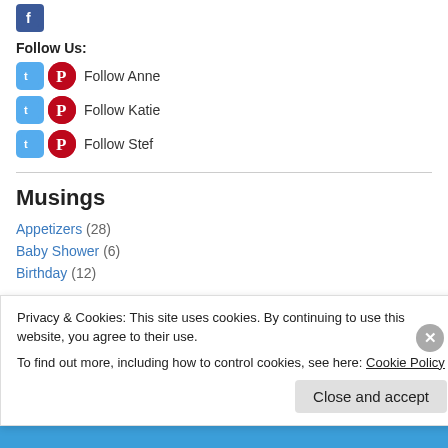Follow Anne
Follow Katie
Follow Stef
Musings
Appetizers (28)
Baby Shower (6)
Birthday (12)
Privacy & Cookies: This site uses cookies. By continuing to use this website, you agree to their use.
To find out more, including how to control cookies, see here: Cookie Policy
Close and accept